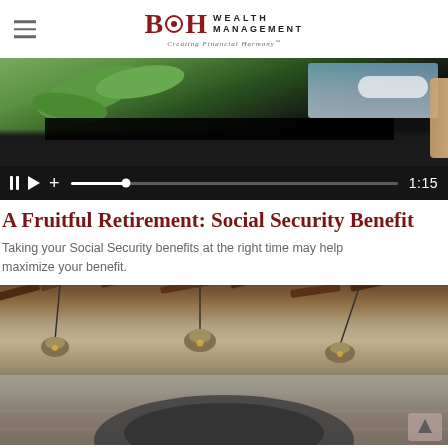BH Wealth Management — Creating Financial Harmony
[Figure (screenshot): Video player showing a smartphone held in hand displaying a nature scene with leaves and sky. Video controls bar at bottom shows pause, play, add buttons, a progress bar, and timestamp 1:15]
A Fruitful Retirement: Social Security Benefit
Taking your Social Security benefits at the right time may help maximize your benefit.
[Figure (photo): Interior scene with exposed wooden ceiling beams, white brick wall, and industrial pendant lights hanging down; an animal (elephant or hippo) visible in foreground]